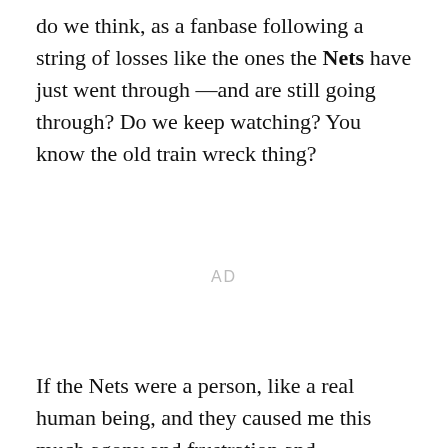do we think, as a fanbase following a string of losses like the ones the Nets have just went through —and are still going through? Do we keep watching? You know the old train wreck thing?
AD
If the Nets were a person, like a real human being, and they caused me this much agony and frustration and